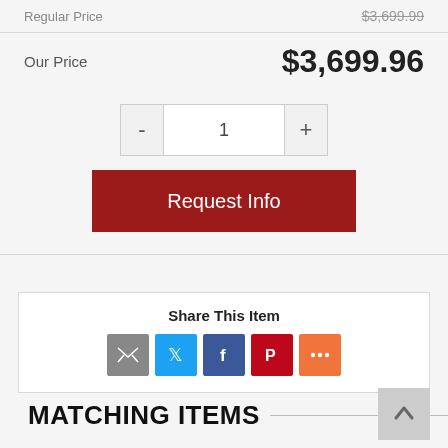Regular Price  $3,699.99
Our Price  $3,699.96
[Figure (other): Quantity selector with minus button, input showing 1, and plus button]
[Figure (other): Red 'Request Info' button]
Share This Item
[Figure (other): Social share icons: email (gray), Twitter (blue), Facebook (dark blue), Pinterest (red), More (orange)]
MATCHING ITEMS
[Figure (other): Scroll to top button with up arrow]